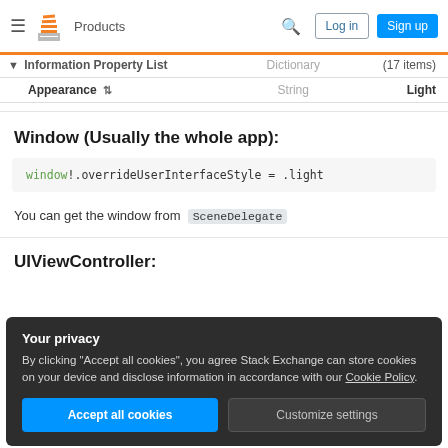Stack Overflow — Products  Log in  Sign up
| Key | Type | Value |
| --- | --- | --- |
| ▼  Information Property List | Dictionary | (17 items) |
| Appearance  ⇅ | String | Light |
Window (Usually the whole app):
window!.overrideUserInterfaceStyle = .light
You can get the window from  SceneDelegate
UIViewController:
Your privacy
By clicking "Accept all cookies", you agree Stack Exchange can store cookies on your device and disclose information in accordance with our Cookie Policy.
Accept all cookies  Customize settings